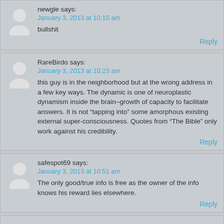newgle says:
January 3, 2013 at 10:15 am
bullshit
Reply
RareBirdo says:
January 3, 2013 at 10:23 am
this guy is in the neighborhood but at the wrong address in a few key ways. The dynamic is one of neuroplastic dynamism inside the brain–growth of capacity to facilitate answers. It is not “tapping into” some amorphous existing external super-consciousness. Quotes from “The Bible” only work against his credibility.
Reply
safespot69 says:
January 3, 2013 at 10:51 am
The only good/true info is free as the owner of the info knows his reward lies elsewhere.
Reply